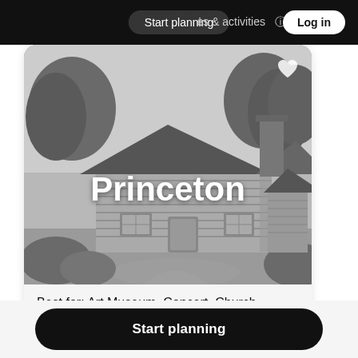Start planning   es & activities   Log in
[Figure (illustration): Grayscale pencil sketch illustration of a historic log cabin with trees in the background, overlaid with large white bold text 'Princeton' and a heart icon in the top right corner]
Best for: Art Museum, Concert, Church
Start planning